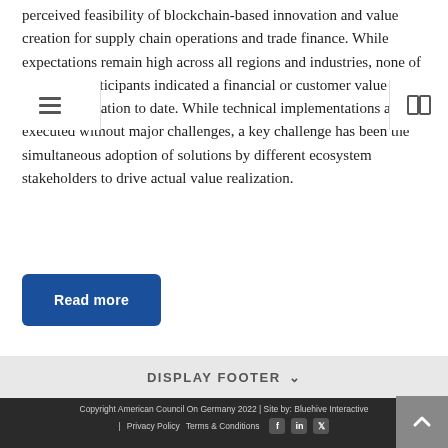perceived feasibility of blockchain-based innovation and value creation for supply chain operations and trade finance. While expectations remain high across all regions and industries, none of the study participants indicated a financial or customer value benefit realization to date. While technical implementations are executed without major challenges, a key challenge has been the simultaneous adoption of solutions by different ecosystem stakeholders to drive actual value realization.
Read more
DISPLAY FOOTER
Copyright American Council On Germany 2022 | Site by: Bluehive Interactive | Privacy Policy  Terms & Conditions